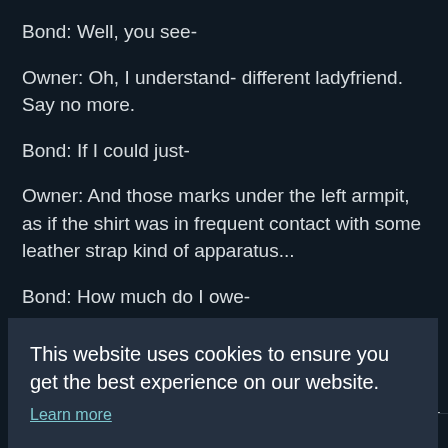Bond: Well, you see-
Owner: Oh, I understand- different ladyfriend. Say no more.
Bond: If I could just-
Owner: And those marks under the left armpit, as if the shirt was in frequent contact with some leather strap kind of apparatus...
Bond: How much do I owe-
Owner: Very difficult to remove.
[Figure (screenshot): Cookie consent overlay with text: 'This website uses cookies to ensure you get the best experience on our website.' with a 'Learn more' link and two buttons: 'Decline' and 'Allow cookies' (cyan/teal button)]
Bond: As a matter of...